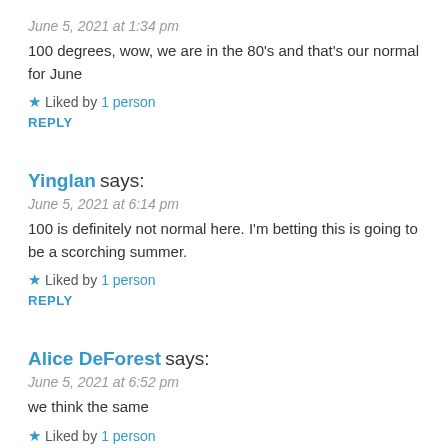June 5, 2021 at 1:34 pm
100 degrees, wow, we are in the 80's and that's our normal for June
★ Liked by 1 person
REPLY
Yinglan says:
June 5, 2021 at 6:14 pm
100 is definitely not normal here. I'm betting this is going to be a scorching summer.
★ Liked by 1 person
REPLY
Alice DeForest says:
June 5, 2021 at 6:52 pm
we think the same
★ Liked by 1 person